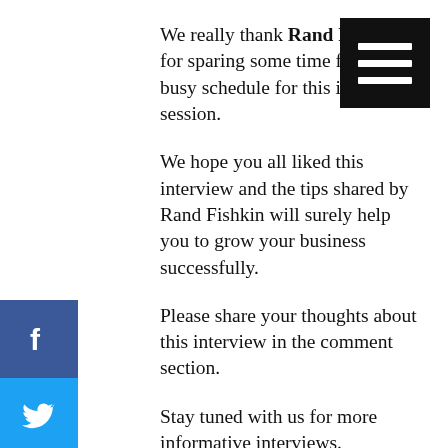[Figure (other): Black hamburger menu button (three horizontal white bars on black square background) in top-right corner]
We really thank Rand Fishkin for sparing some time from his busy schedule for this interview session.
We hope you all liked this interview and the tips shared by Rand Fishkin will surely help you to grow your business successfully.
Please share your thoughts about this interview in the comment section.
Stay tuned with us for more informative interviews.
[Figure (infographic): Social media share sidebar on left edge with Facebook (blue), Twitter (light blue), LinkedIn (dark blue), and Pinterest (red) icons]